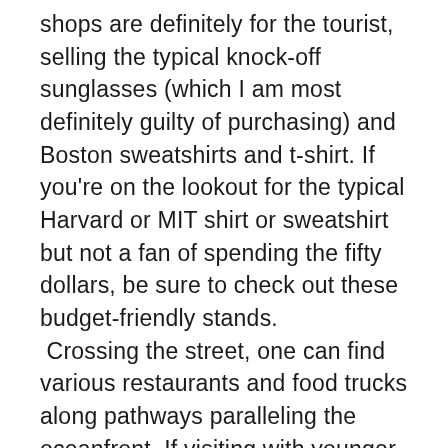shops are definitely for the tourist, selling the typical knock-off sunglasses (which I am most definitely guilty of purchasing) and Boston sweatshirts and t-shirt. If you're on the lookout for the typical Harvard or MIT shirt or sweatshirt but not a fan of spending the fifty dollars, be sure to check out these budget-friendly stands. Crossing the street, one can find various restaurants and food trucks along pathways paralleling the oceanfront. If visiting with younger children, the carousel will definitely win you a couple of bonus points in their eyes. Or maybe even just to snap that Instagram-worthy, Tumblr-like photo, three dollars will buy you seven minutes of fun and laughter on the merry-go-